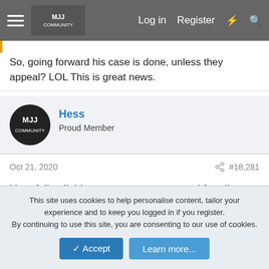[Figure (screenshot): Forum navigation bar with hamburger menu, MJJ Community logo, Log in, Register, lightning bolt and search icons]
So, going forward his case is done, unless they appeal? LOL This is great news.
Hess
Proud Member
Oct 21, 2020   #18,281
Hopefully all this nonsens can once and for all come to an end.

Just sad The Estate/MJ - can't sue them for all these stupid accusations.
This site uses cookies to help personalise content, tailor your experience and to keep you logged in if you register.
By continuing to use this site, you are consenting to our use of cookies.
✔ Accept   Learn more...